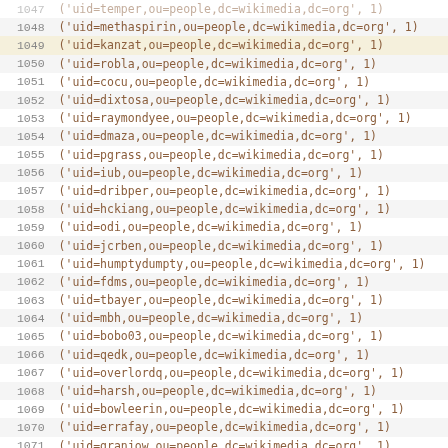| line | code |
| --- | --- |
| 1047 | ('uid=temper...,ou=people,dc=wikimedia,dc=org', 1) |
| 1048 | ('uid=methaspirin,ou=people,dc=wikimedia,dc=org', 1) |
| 1049 | ('uid=kanzat,ou=people,dc=wikimedia,dc=org', 1) |
| 1050 | ('uid=robla,ou=people,dc=wikimedia,dc=org', 1) |
| 1051 | ('uid=cocu,ou=people,dc=wikimedia,dc=org', 1) |
| 1052 | ('uid=dixtosa,ou=people,dc=wikimedia,dc=org', 1) |
| 1053 | ('uid=raymondyee,ou=people,dc=wikimedia,dc=org', 1) |
| 1054 | ('uid=dmaza,ou=people,dc=wikimedia,dc=org', 1) |
| 1055 | ('uid=pgrass,ou=people,dc=wikimedia,dc=org', 1) |
| 1056 | ('uid=iub,ou=people,dc=wikimedia,dc=org', 1) |
| 1057 | ('uid=dribper,ou=people,dc=wikimedia,dc=org', 1) |
| 1058 | ('uid=hckiang,ou=people,dc=wikimedia,dc=org', 1) |
| 1059 | ('uid=odi,ou=people,dc=wikimedia,dc=org', 1) |
| 1060 | ('uid=jcrben,ou=people,dc=wikimedia,dc=org', 1) |
| 1061 | ('uid=humptydumpty,ou=people,dc=wikimedia,dc=org', 1) |
| 1062 | ('uid=fdms,ou=people,dc=wikimedia,dc=org', 1) |
| 1063 | ('uid=tbayer,ou=people,dc=wikimedia,dc=org', 1) |
| 1064 | ('uid=mbh,ou=people,dc=wikimedia,dc=org', 1) |
| 1065 | ('uid=bobo03,ou=people,dc=wikimedia,dc=org', 1) |
| 1066 | ('uid=qedk,ou=people,dc=wikimedia,dc=org', 1) |
| 1067 | ('uid=overlordq,ou=people,dc=wikimedia,dc=org', 1) |
| 1068 | ('uid=harsh,ou=people,dc=wikimedia,dc=org', 1) |
| 1069 | ('uid=bowleerin,ou=people,dc=wikimedia,dc=org', 1) |
| 1070 | ('uid=errafay,ou=people,dc=wikimedia,dc=org', 1) |
| 1071 | ('uid=granjow,ou=people,dc=wikimedia,dc=org', 1) |
| 1072 | ('uid=marianneh,ou=people,dc=wikimedia,dc=org', 1) |